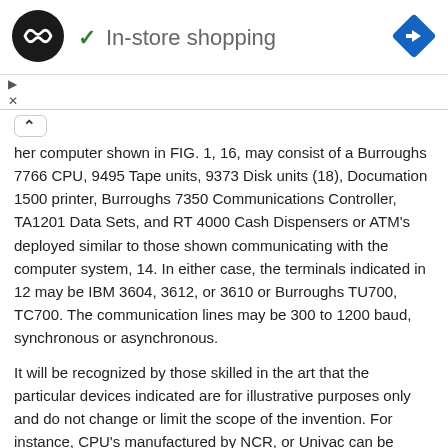[Figure (logo): Circular black logo with double loop/infinity symbol in white]
✓  In-store shopping
[Figure (other): Blue diamond-shaped navigation icon with right-pointing arrow]
her computer shown in FIG. 1, 16, may consist of a Burroughs 7766 CPU, 9495 Tape units, 9373 Disk units (18), Documation 1500 printer, Burroughs 7350 Communications Controller, TA1201 Data Sets, and RT 4000 Cash Dispensers or ATM's deployed similar to those shown communicating with the computer system, 14. In either case, the terminals indicated in 12 may be IBM 3604, 3612, or 3610 or Burroughs TU700, TC700. The communication lines may be 300 to 1200 baud, synchronous or asynchronous.
It will be recognized by those skilled in the art that the particular devices indicated are for illustrative purposes only and do not change or limit the scope of the invention. For instance, CPU's manufactured by NCR, or Univac can be used, other ATM's, peripheral or communication devices manufactured by Varian, Memorex, DEC, NCR, Docutel, FDSI, Diebold, Tandem, Mosler, Bunker Ramo or others could have been substituted for the system components indicated. Similarly, microprocessors such as the Intel 8048 or 8085, Motorola 6800, PDP11 could have been specified rather than the Intel 8080 and would suffice with appropriate changes to the